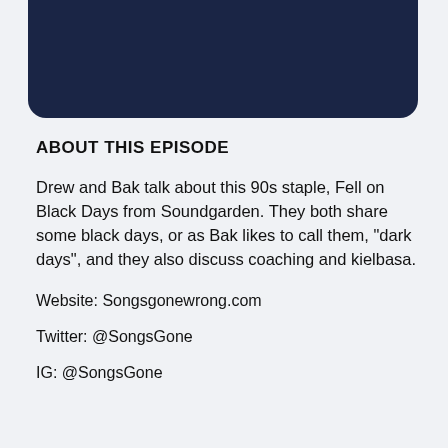[Figure (other): Dark navy blue rounded banner/header image at the top of the page]
ABOUT THIS EPISODE
Drew and Bak talk about this 90s staple, Fell on Black Days from Soundgarden. They both share some black days, or as Bak likes to call them, "dark days", and they also discuss coaching and kielbasa.
Website: Songsgonewrong.com
Twitter: @SongsGone
IG: @SongsGone